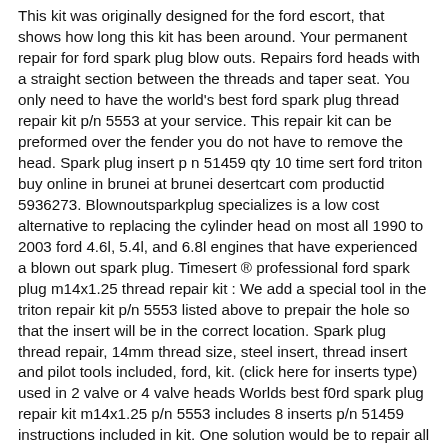This kit was originally designed for the ford escort, that shows how long this kit has been around. Your permanent repair for ford spark plug blow outs. Repairs ford heads with a straight section between the threads and taper seat. You only need to have the world's best ford spark plug thread repair kit p/n 5553 at your service. This repair kit can be preformed over the fender you do not have to remove the head. Spark plug insert p n 51459 qty 10 time sert ford triton buy online in brunei at brunei desertcart com productid 5936273. Blownoutsparkplug specializes is a low cost alternative to replacing the cylinder head on most all 1990 to 2003 ford 4.6l, 5.4l, and 6.8l engines that have experienced a blown out spark plug. Timesert ® professional ford spark plug m14x1.25 thread repair kit : We add a special tool in the triton repair kit p/n 5553 listed above to prepair the hole so that the insert will be in the correct location. Spark plug thread repair, 14mm thread size, steel insert, thread insert and pilot tools included, ford, kit. (click here for inserts type) used in 2 valve or 4 valve heads Worlds best f0rd spark plug repair kit m14x1.25 p/n 5553 includes 8 inserts p/n 51459 instructions included in kit. One solution would be to repair all holes at the same time. Standard spark plug thread repair kits, ford spark plug repair kits. The head should not be a romeo 2001 4l8e or similar